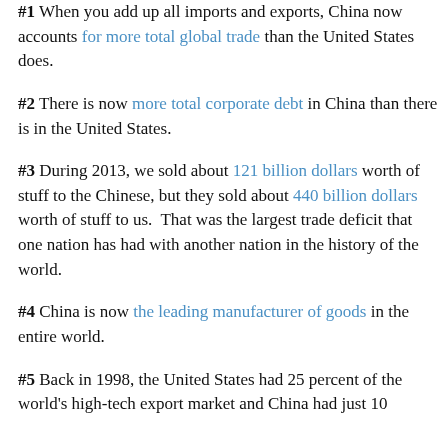#1 When you add up all imports and exports, China now accounts for more total global trade than the United States does.
#2 There is now more total corporate debt in China than there is in the United States.
#3 During 2013, we sold about 121 billion dollars worth of stuff to the Chinese, but they sold about 440 billion dollars worth of stuff to us. That was the largest trade deficit that one nation has had with another nation in the history of the world.
#4 China is now the leading manufacturer of goods in the entire world.
#5 Back in 1998, the United States had 25 percent of the world's high-tech export market and China had just 10